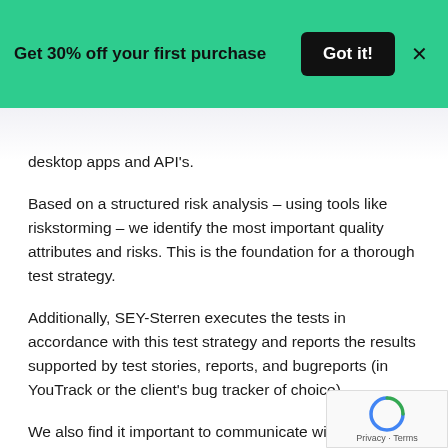Get 30% off your first purchase  Got it!  ×
desktop apps and API's.
Based on a structured risk analysis – using tools like riskstorming – we identify the most important quality attributes and risks. This is the foundation for a thorough test strategy.
Additionally, SEY-Sterren executes the tests in accordance with this test strategy and reports the results supported by test stories, reports, and bugreports (in YouTrack or the client's bug tracker of choice).
We also find it important to communicate with